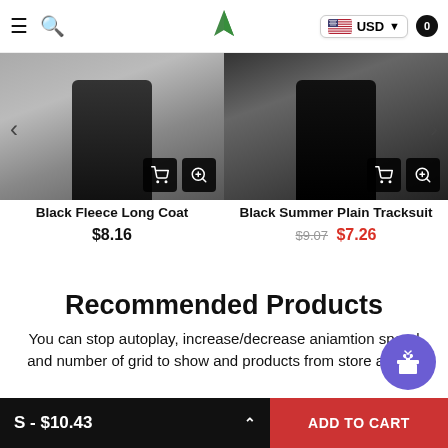Navigation header with menu, search, logo, USD currency selector, and cart (0)
[Figure (photo): Product image of Black Fleece Long Coat (dark clothing on light background) with cart and zoom icons]
[Figure (photo): Product image of Black Summer Plain Tracksuit (dark clothing on dark background) with cart and zoom icons]
Black Fleece Long Coat
$8.16
Black Summer Plain Tracksuit
$9.07  $7.26
Recommended Products
You can stop autoplay, increase/decrease aniamtion speed and number of grid to show and products from store admin.
S - $10.43  ADD TO CART